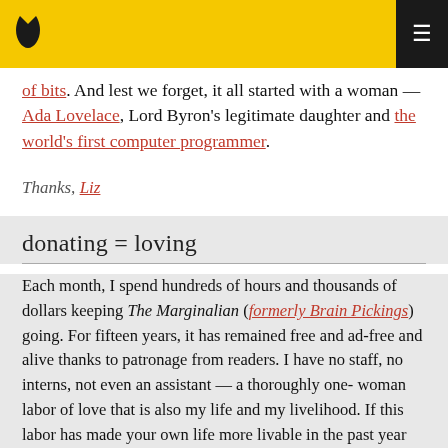[Navigation bar with logo and menu button]
of bits. And lest we forget, it all started with a woman — Ada Lovelace, Lord Byron's legitimate daughter and the world's first computer programmer.
Thanks, Liz
donating = loving
Each month, I spend hundreds of hours and thousands of dollars keeping The Marginalian (formerly Brain Pickings) going. For fifteen years, it has remained free and ad-free and alive thanks to patronage from readers. I have no staff, no interns, not even an assistant — a thoroughly one-woman labor of love that is also my life and my livelihood. If this labor has made your own life more livable in the past year (or the past decade), please consider aiding its